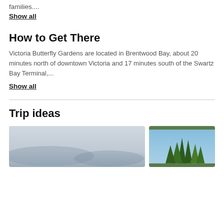families....
Show all
How to Get There
Victoria Butterfly Gardens are located in Brentwood Bay, about 20 minutes north of downtown Victoria and 17 minutes south of the Swartz Bay Terminal,...
Show all
Trip ideas
[Figure (photo): Landscape photo showing mountains and sky, muted grey-blue tones]
[Figure (photo): Photo of tall evergreen trees against a blue sky]